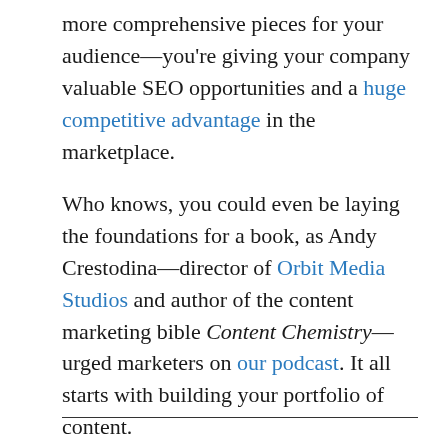more comprehensive pieces for your audience—you're giving your company valuable SEO opportunities and a huge competitive advantage in the marketplace.
Who knows, you could even be laying the foundations for a book, as Andy Crestodina—director of Orbit Media Studios and author of the content marketing bible Content Chemistry—urged marketers on our podcast. It all starts with building your portfolio of content.